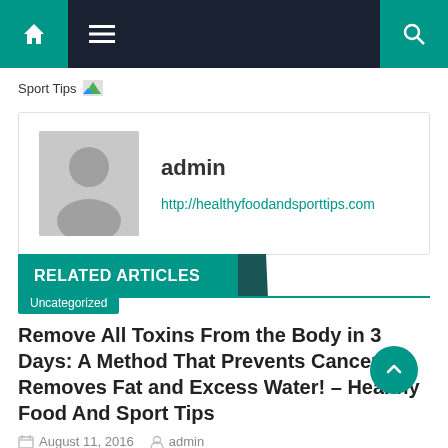Navigation bar with home, menu, and search icons
Sport Tips
admin
http://healthyfoodandsporttips.com
RELATED ARTICLES
Uncategorized
Remove All Toxins From the Body in 3 Days: A Method That Prevents Cancer, Removes Fat and Excess Water! – Healthy Food And Sport Tips
August 11, 2016  admin